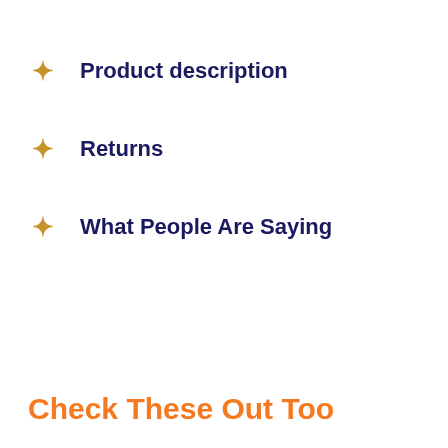Product description
Returns
What People Are Saying
Check These Out Too